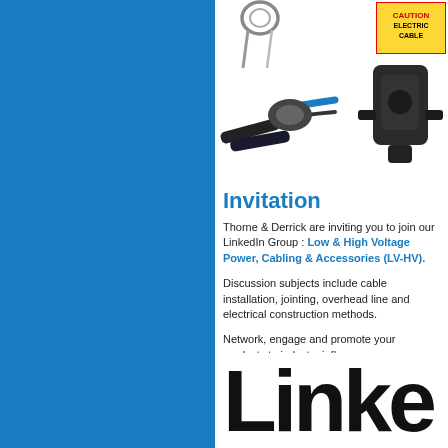[Figure (photo): Collage of electrical/cabling tools and equipment: wire loops, cable crimping tool, black electrical device, and a warning label for electric cable]
Invitation
Thorne & Derrick are inviting you to join our LinkedIn Group : Low & High Voltage Power, Cabling & Accessories (LV-HV).
Discussion subjects include cable installation, jointing, overhead line and electrical construction methods.
Network, engage and promote your products to industry influencers.
[Figure (logo): LinkedIn logo text partially visible - large black letters 'Linke']